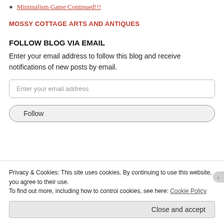Minimalism Game Continued!!!
MOSSY COTTAGE ARTS AND ANTIQUES
FOLLOW BLOG VIA EMAIL
Enter your email address to follow this blog and receive notifications of new posts by email.
Enter your email address
Follow
Privacy & Cookies: This site uses cookies. By continuing to use this website, you agree to their use.
To find out more, including how to control cookies, see here: Cookie Policy
Close and accept